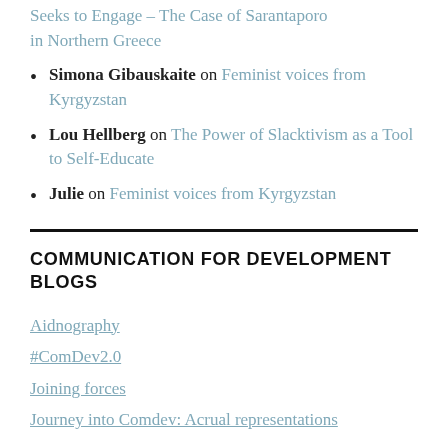Seeks to Engage – The Case of Sarantaporo in Northern Greece
Simona Gibauskaite on Feminist voices from Kyrgyzstan
Lou Hellberg on The Power of Slacktivism as a Tool to Self-Educate
Julie on Feminist voices from Kyrgyzstan
COMMUNICATION FOR DEVELOPMENT BLOGS
Aidnography
#ComDev2.0
Joining forces
Journey into Comdev: Acrual representations